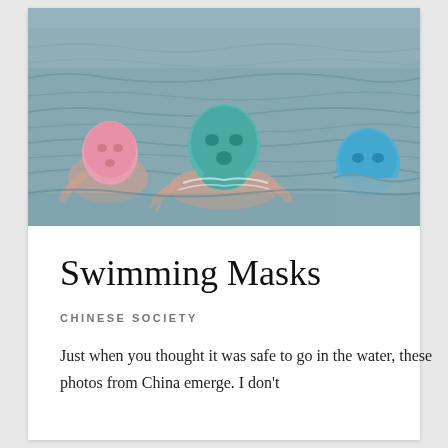[Figure (photo): Three people swimming in murky water wearing full-face lycra swimming masks — one pink (left), one teal/green (center, prominent), one blue (right). The central figure is most visible, upper body out of the water.]
Swimming Masks
CHINESE SOCIETY
Just when you thought it was safe to go in the water, these photos from China emerge. I don't